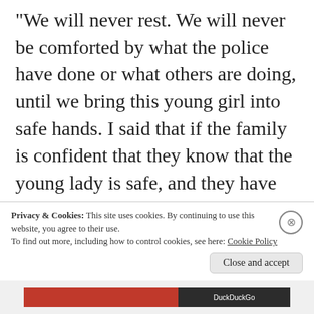“We will never rest. We will never be comforted by what the police have done or what others are doing, until we bring this young girl into safe hands. I said that if the family is confident that they know that the young lady is safe, and they have any means of communicating this message with anyone there, we ask that Kian stop at any police station close by. Or he can drop her
Privacy & Cookies: This site uses cookies. By continuing to use this website, you agree to their use.
To find out more, including how to control cookies, see here: Cookie Policy
Close and accept